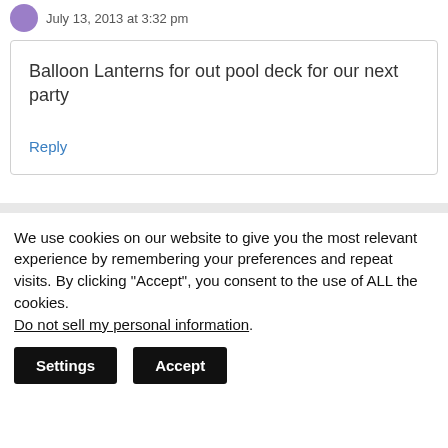July 13, 2013 at 3:32 pm
Balloon Lanterns for out pool deck for our next party
Reply
We use cookies on our website to give you the most relevant experience by remembering your preferences and repeat visits. By clicking “Accept”, you consent to the use of ALL the cookies.
Do not sell my personal information.
Settings
Accept